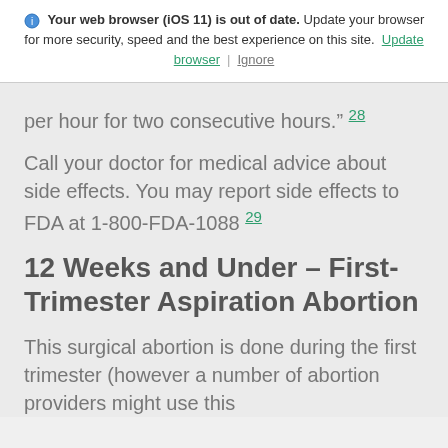Your web browser (iOS 11) is out of date. Update your browser for more security, speed and the best experience on this site. Update browser | Ignore
per hour for two consecutive hours." 28
Call your doctor for medical advice about side effects. You may report side effects to FDA at 1-800-FDA-1088 29
12 Weeks and Under – First-Trimester Aspiration Abortion
This surgical abortion is done during the first trimester (however a number of abortion providers might use this